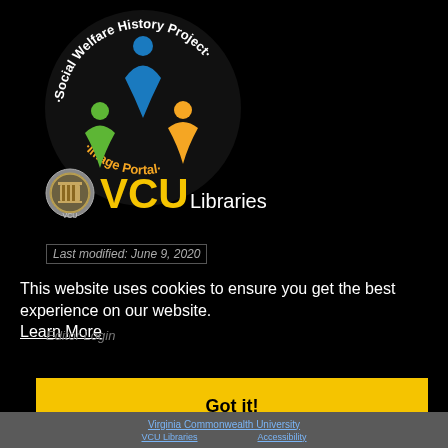[Figure (logo): Social Welfare History Project Image Portal circular logo with blue, green, and orange figures, alongside VCU Libraries logo with seal and gold VCU text]
Last modified: June 9, 2020
This website uses cookies to ensure you get the best experience on our website.
Learn More
Editor Login
Got it!
Virginia Commonwealth University
VCU Libraries    Accessibility